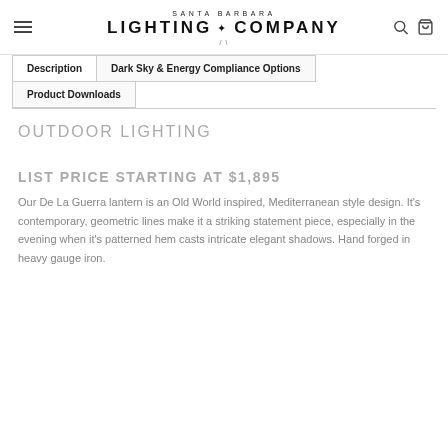SANTA BARBARA LIGHTING COMPANY
Description
Dark Sky & Energy Compliance Options
Product Downloads
OUTDOOR LIGHTING
LIST PRICE STARTING AT $1,895
Our De La Guerra lantern is an Old World inspired, Mediterranean style design. It's contemporary, geometric lines make it a striking statement piece, especially in the evening when it's patterned hem casts intricate elegant shadows. Hand forged in heavy gauge iron.